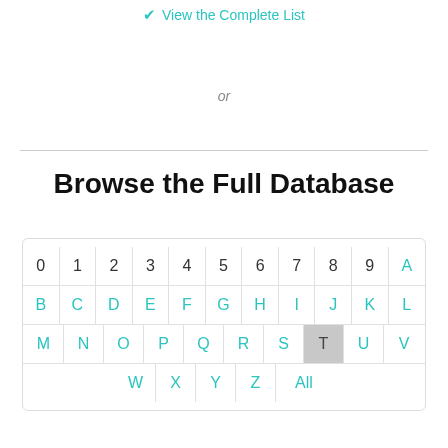✓ View the Complete List
or
Browse the Full Database
[Figure (other): Alphabetical and numeric browser grid with characters 0-9, A-Z, and All. Letter T is highlighted/selected with gray background.]